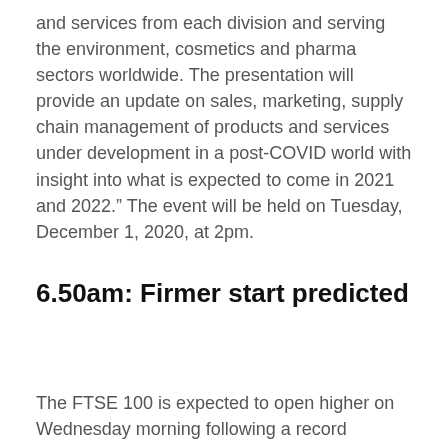and services from each division and serving the environment, cosmetics and pharma sectors worldwide. The presentation will provide an update on sales, marketing, supply chain management of products and services under development in a post-COVID world with insight into what is expected to come in 2021 and 2022.” The event will be held on Tuesday, December 1, 2020, at 2pm.
6.50am: Firmer start predicted
The FTSE 100 is expected to open higher on Wednesday morning following a record session for US